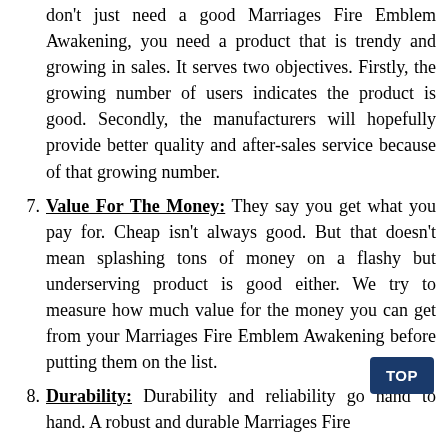don't just need a good Marriages Fire Emblem Awakening, you need a product that is trendy and growing in sales. It serves two objectives. Firstly, the growing number of users indicates the product is good. Secondly, the manufacturers will hopefully provide better quality and after-sales service because of that growing number.
Value For The Money: They say you get what you pay for. Cheap isn't always good. But that doesn't mean splashing tons of money on a flashy but underserving product is good either. We try to measure how much value for the money you can get from your Marriages Fire Emblem Awakening before putting them on the list.
Durability: Durability and reliability go hand to hand. A robust and durable Marriages Fire